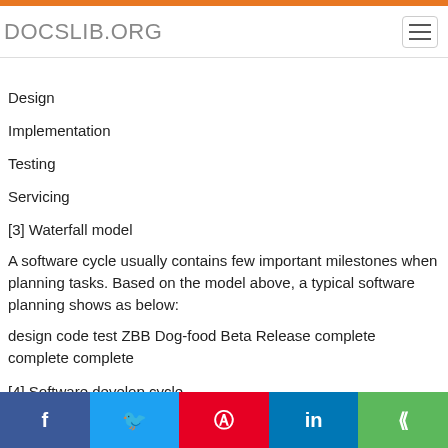DOCSLIB.ORG
Design
Implementation
Testing
Servicing
[3] Waterfall model
A software cycle usually contains few important milestones when planning tasks. Based on the model above, a typical software planning shows as below:
design code test ZBB Dog-food Beta Release complete complete complete
[4] Software develop cycle
1. Design complete: in early stage, the project manager identifies the requirements of the software and designs user scenarios.